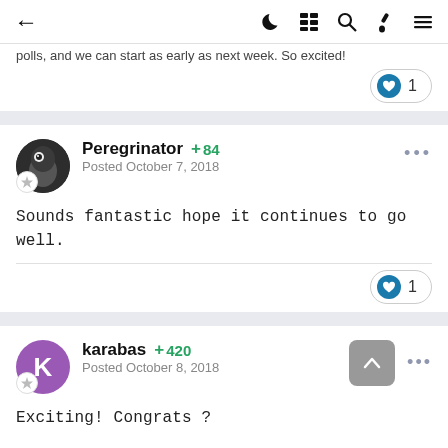← (back) | (moon) (grid) (search) (brush) (menu)
polls, and we can start as early as next week. So excited!
[Figure (other): Like button with heart icon and count 1]
Peregrinator +84
Posted October 7, 2018
Sounds fantastic hope it continues to go well.
[Figure (other): Like button with heart icon and count 1]
karabas +420
Posted October 8, 2018
Exciting! Congrats ?